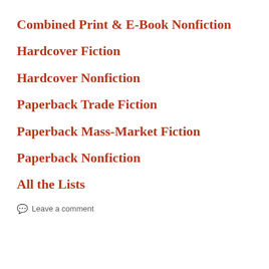Combined Print & E-Book Nonfiction
Hardcover Fiction
Hardcover Nonfiction
Paperback Trade Fiction
Paperback Mass-Market Fiction
Paperback Nonfiction
All the Lists
Leave a comment